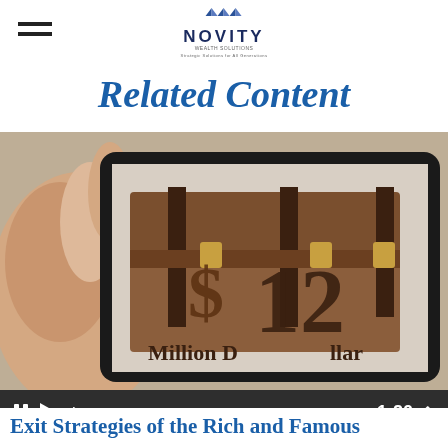Novity Wealth Solutions — Strategic Solutions for All Generations
Related Content
[Figure (screenshot): A video thumbnail showing a hand holding a tablet displaying a wooden treasure chest with '$12 Million Dollar' text on it, with video playback controls showing 1:20 duration]
Exit Strategies of the Rich and Famous